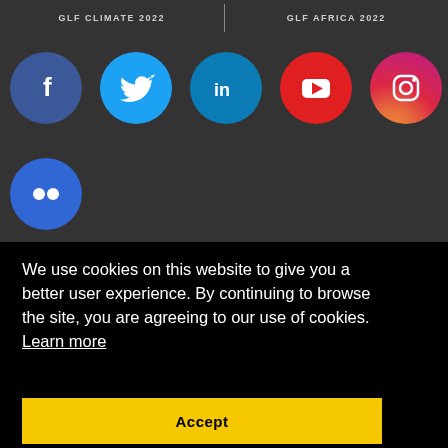GLF CLIMATE 2022 | GLF AFRICA 2022
[Figure (other): Social media icons row 1: Facebook (blue circle with f), Twitter (cyan circle with bird), LinkedIn (teal circle with in), YouTube (red circle with play button), Instagram (gradient circle with camera), SlideShare/Speakerdeck (teal circle with icon)]
[Figure (other): Social media icon row 2: Flickr (blue circle with two dots icon)]
We use cookies on this website to give you a better user experience. By continuing to browse the site, you are agreeing to our use of cookies.  Learn more
Accept